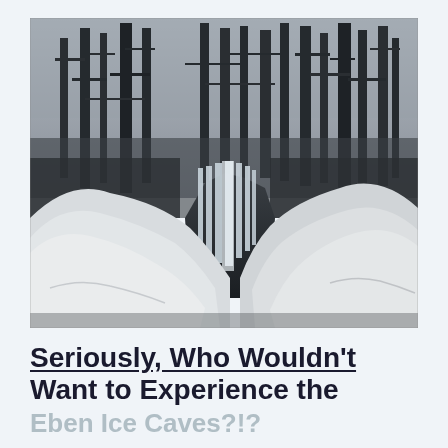[Figure (photo): Black and white photograph of a winter scene showing large snow mounds on either side with frozen icicle formations visible in the center background, and tall bare trees above against a grey sky — Eben Ice Caves.]
Seriously, Who Wouldn't Want to Experience the Eben Ice Caves?!?